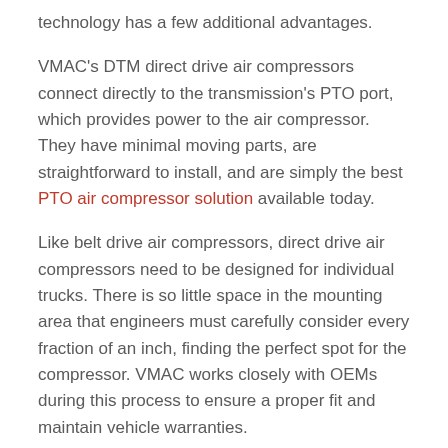technology has a few additional advantages.
VMAC's DTM direct drive air compressors connect directly to the transmission's PTO port, which provides power to the air compressor. They have minimal moving parts, are straightforward to install, and are simply the best PTO air compressor solution available today.
Like belt drive air compressors, direct drive air compressors need to be designed for individual trucks. There is so little space in the mounting area that engineers must carefully consider every fraction of an inch, finding the perfect spot for the compressor. VMAC works closely with OEMs during this process to ensure a proper fit and maintain vehicle warranties.
VMAC also offers a direct drive air compressor with a